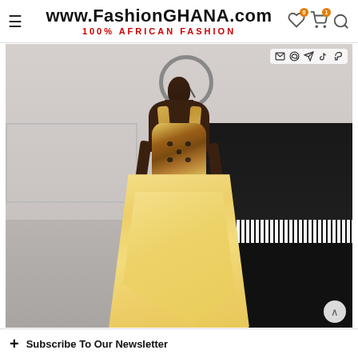www.FashionGHANA.com | 100% AFRICAN FASHION
[Figure (photo): A woman wearing a yellow/gold satin hi-lo dress with a floral patterned bodice, standing in front of a piano and a decorative wall clock. The dress has thick straps and a sweetheart neckline bodice with black and gold floral print, and a full golden satin skirt with hi-lo hemline.]
+ Subscribe To Our Newsletter